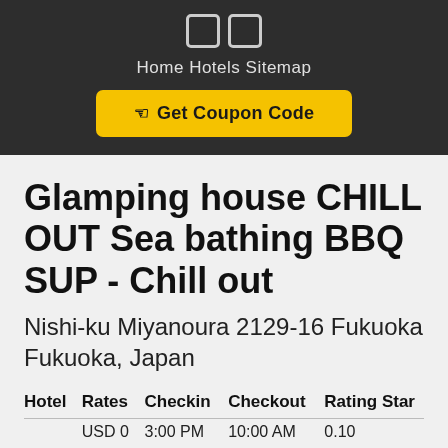Home  Hotels  Sitemap
[Figure (other): Yellow Get Coupon Code button with hand/cursor icon]
Glamping house CHILL OUT Sea bathing BBQ SUP - Chill out
Nishi-ku Miyanoura 2129-16 Fukuoka Fukuoka, Japan
| Hotel | Rates | Checkin | Checkout | Rating Star |
| --- | --- | --- | --- | --- |